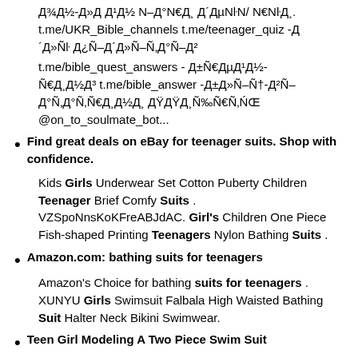Д¾Д½-Д»Д´Д½ N–Д°N€Д¸ Д´ДµNŀN/ N€NŀД¸. t.me/UKR_Bible_channels t.me/teenager_quiz -Д´Д»Ñŀ Д¿Ñ–Д´Д»Ñ–Ñ‚Д°Ñ–Д² t.me/bible_quest_answers - Д±Ñ€ДµД¹Д½-Ñ€Д¸Д½Д³ t.me/bible_answer -Д±Д»Ñ–Ñ†-Д²Ñ–Д°Ñ‚Д¾Ñ‚Ñ€Д¸Д½Д¸ ДŸДŸД¸Ñ‰Ñ€Ñ‚ŃŒ @on_to_soulmate_bot...
Find great deals on eBay for teenager suits. Shop with confidence.
Kids Girls Underwear Set Cotton Puberty Children Teenager Brief Comfy Suits . VZSpoNnsKoKFreABJdAC. Girl's Children One Piece Fish-shaped Printing Teenagers Nylon Bathing Suits .
Amazon.com: bathing suits for teenagers
Amazon's Choice for bathing suits for teenagers . XUNYU Girls Swimsuit Falbala High Waisted Bathing Suit Halter Neck Bikini Swimwear.
Teen Girl Modeling A Two Piece Swim Suit